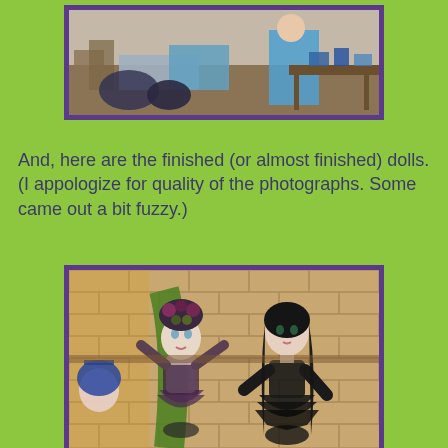[Figure (photo): Photo of a workshop table with materials and a person in a blue costume, surrounded by craft supplies and boxes.]
And, here are the finished (or almost finished) dolls.
(I appologize for quality of the photographs. Some came out a bit fuzzy.)
[Figure (photo): Photo of two finished fantasy dolls standing in front of a brick wall. The left doll has a floral headdress, green wings, and a sparkly bustier with a purple skirt. The right doll has long black hair, dark eye makeup, and a black dress with feathery/layered skirt detailing. A third doll is partially visible on the left edge.]